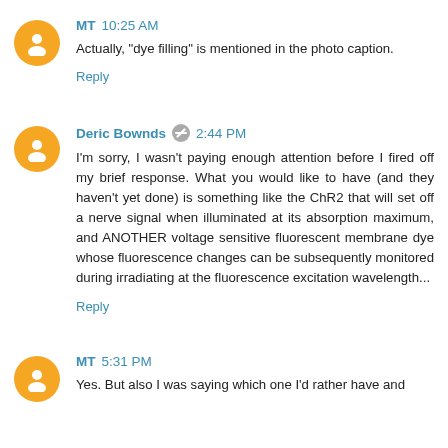MT  10:25 AM
Actually, "dye filling" is mentioned in the photo caption.
Reply
Deric Bownds  2:44 PM
I'm sorry, I wasn't paying enough attention before I fired off my brief response. What you would like to have (and they haven't yet done) is something like the ChR2 that will set off a nerve signal when illuminated at its absorption maximum, and ANOTHER voltage sensitive fluorescent membrane dye whose fluorescence changes can be subsequently monitored during irradiating at the fluorescence excitation wavelength...
Reply
MT  5:31 PM
Yes. But also I was saying which one I'd rather have and